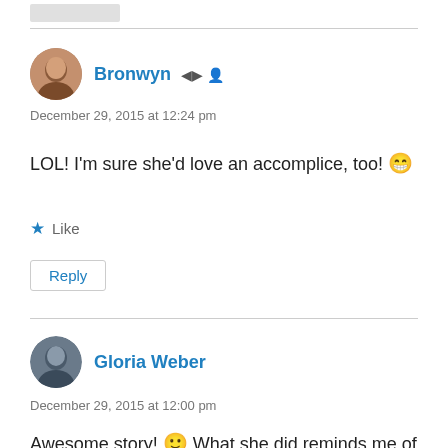Bronwyn
December 29, 2015 at 12:24 pm
LOL! I'm sure she'd love an accomplice, too! 😀
Like
Reply
Gloria Weber
December 29, 2015 at 12:00 pm
Awesome story! 🙂 What she did reminds me of a